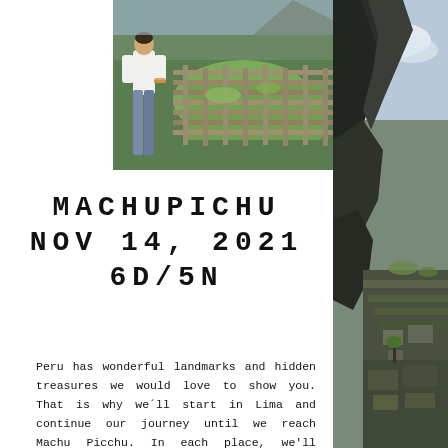[Figure (photo): Aerial view of Machu Picchu ruins with a person standing in foreground, lush green terraces and stone structures visible]
[Figure (photo): Right side vertical strip showing dramatic mountain cliffs and aerial view of Machu Picchu ruins from a steep angle]
MACHUPICHU
NOV 14, 2021
6D/5N
Peru has wonderful landmarks and hidden treasures we would love to show you. That is why we'll start in Lima and continue our journey until we reach Machu Picchu. In each place, we'll unveil ancient secrets by the hand of a local tour guide, making of